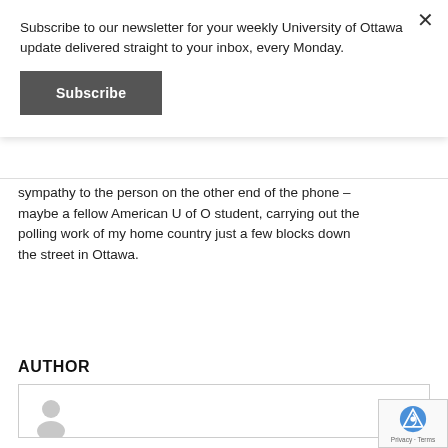Subscribe to our newsletter for your weekly University of Ottawa update delivered straight to your inbox, every Monday.
Subscribe
sympathy to the person on the other end of the phone – maybe a fellow American U of O student, carrying out the polling work of my home country just a few blocks down the street in Ottawa.
AUTHOR
[Figure (illustration): Grey placeholder avatar icon of a person silhouette inside an author card with a border]